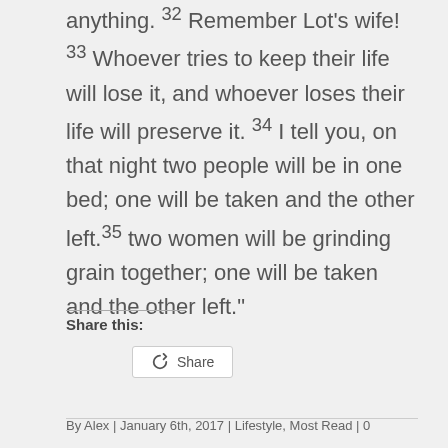anything. 32 Remember Lot's wife! 33 Whoever tries to keep their life will lose it, and whoever loses their life will preserve it. 34 I tell you, on that night two people will be in one bed; one will be taken and the other left. 35 two women will be grinding grain together; one will be taken and the other left."
Share this:
[Figure (other): Share button with circular arrow icon]
By Alex | January 6th, 2017 | Lifestyle, Most Read | 0